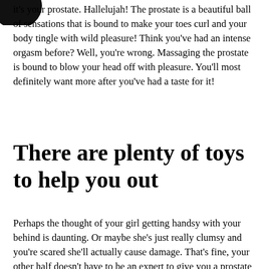[Figure (illustration): Black circular/blob shape partially visible at top-left corner of the page]
it's your prostate. Hallelujah! The prostate is a beautiful ball of sensations that is bound to make your toes curl and your body tingle with wild pleasure! Think you've had an intense orgasm before? Well, you're wrong. Massaging the prostate is bound to blow your head off with pleasure. You'll most definitely want more after you've had a taste for it!
There are plenty of toys to help you out
Perhaps the thought of your girl getting handsy with your behind is daunting. Or maybe she's just really clumsy and you're scared she'll actually cause damage. That's fine, your other half doesn't have to be an expert to give you a prostate massage; there are plenty of that to smooth and start to do it for you. F...